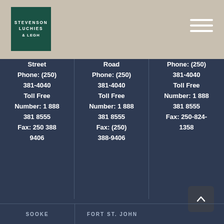[Figure (logo): Stevenson Luchies & Legh law firm logo — dark green background with white text]
Street
Phone: (250)
381-4040
Toll Free
Number: 1 888
381 8555
Fax: 250 388
9406
Road
Phone: (250)
381-4040
Toll Free
Number: 1 888
381 8555
Fax: (250)
388-9406
Phone: (250)
381-4040
Toll Free
Number: 1 888
381 8555
Fax: 250-824-
1358
SOOKE
FORT ST. JOHN